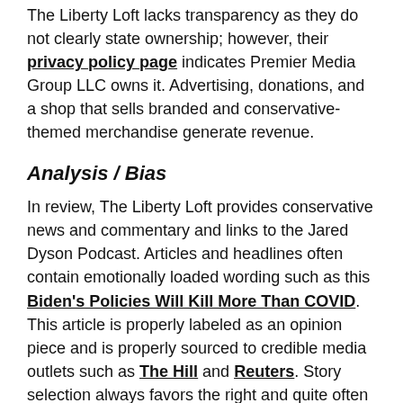The Liberty Loft lacks transparency as they do not clearly state ownership; however, their privacy policy page indicates Premier Media Group LLC owns it. Advertising, donations, and a shop that sells branded and conservative-themed merchandise generate revenue.
Analysis / Bias
In review, The Liberty Loft provides conservative news and commentary and links to the Jared Dyson Podcast. Articles and headlines often contain emotionally loaded wording such as this Biden's Policies Will Kill More Than COVID. This article is properly labeled as an opinion piece and is properly sourced to credible media outlets such as The Hill and Reuters. Story selection always favors the right and quite often denigrates the left such as this Governors and Mayors are criminalizing families and holidays. This opinion piece is also properly sourced.
During the 2020 election, The Liberty Loft has promoted